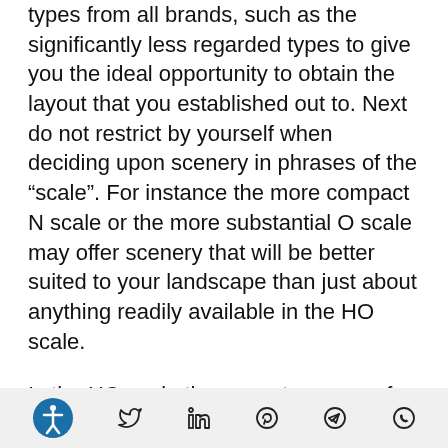types from all brands, such as the significantly less regarded types to give you the ideal opportunity to obtain the layout that you established out to. Next do not restrict by yourself when deciding upon scenery in phrases of the “scale”. For instance the more compact N scale or the more substantial O scale may offer scenery that will be better suited to your landscape than just about anything readily available in the HO scale.
Is the HO scale the correct a person for you?
Soon after looking through the details previously mentioned you are in greater position to make a
accessibility icon, twitter, linkedin, pinterest, telegram, whatsapp